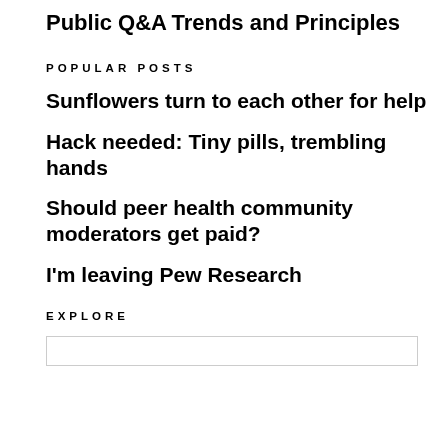Public Q&A
Trends and Principles
POPULAR POSTS
Sunflowers turn to each other for help
Hack needed: Tiny pills, trembling hands
Should peer health community moderators get paid?
I'm leaving Pew Research
EXPLORE